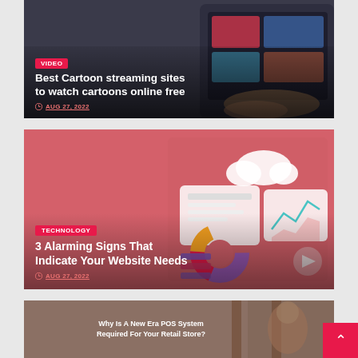[Figure (photo): Dark background showing a person on a tablet with streaming content, card overlay with VIDEO tag and title]
Best Cartoon streaming sites to watch cartoons online free
AUG 27, 2022
[Figure (photo): Pink/red background with 3D technology icons and charts, card overlay with TECHNOLOGY tag and title]
3 Alarming Signs That Indicate Your Website Needs
AUG 27, 2022
[Figure (photo): Retail store background with text overlay about POS System]
Why Is A New Era POS System Required For Your Retail Store?